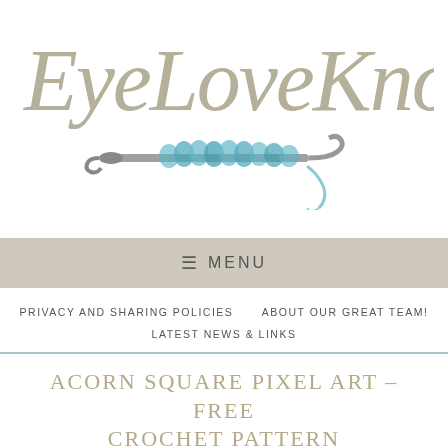[Figure (logo): EyeLoveKnots cursive logo with crochet hook and teal yarn illustration]
≡ MENU
PRIVACY AND SHARING POLICIES   ABOUT OUR GREAT TEAM!   LATEST NEWS & LINKS
ACORN SQUARE PIXEL ART – FREE CROCHET PATTERN
SEPTEMBER 23, 2017
This is a free crochet pattern for how to crochet my